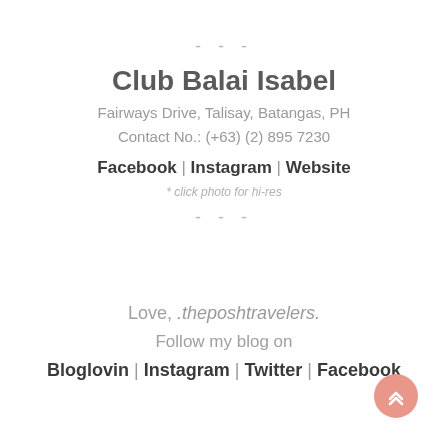- - -
Club Balai Isabel
Fairways Drive, Talisay, Batangas, PH
Contact No.: (+63) (2) 895 7230
Facebook | Instagram | Website
* click photo for hi-res
- - -
Love, .theposhtravelers.
Follow my blog on
Bloglovin | Instagram | Twitter | Facebook